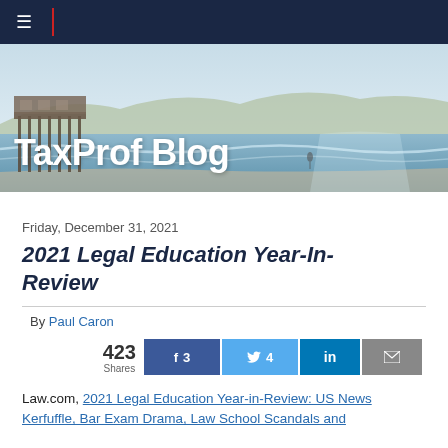TaxProf Blog
[Figure (photo): Coastal beach scene with pier and surfer, used as blog header banner with 'TaxProf Blog' text overlay]
Friday, December 31, 2021
2021 Legal Education Year-In-Review
By Paul Caron
423 Shares  f 3  Twitter 4  in  Email
Law.com, 2021 Legal Education Year-in-Review: US News Kerfuffle, Bar Exam Drama, Law School Scandals and More